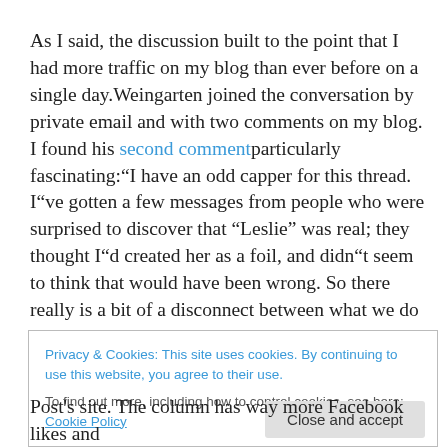As I said, the discussion built to the point that I had more traffic on my blog than ever before on a single day.Weingarten joined the conversation by private email and with two comments on my blog. I found his second comment particularly fascinating:"I have an odd capper for this thread. I"ve gotten a few messages from people who were surprised to discover that “Leslie” was real; they thought I"d created her as a foil, and didn"t seem to think that would have been wrong. So there really is a bit of a disconnect between what we do and what people think we
Privacy & Cookies: This site uses cookies. By continuing to use this website, you agree to their use.
To find out more, including how to control cookies, see here: Cookie Policy
Post's site. The column has way more Facebook likes and